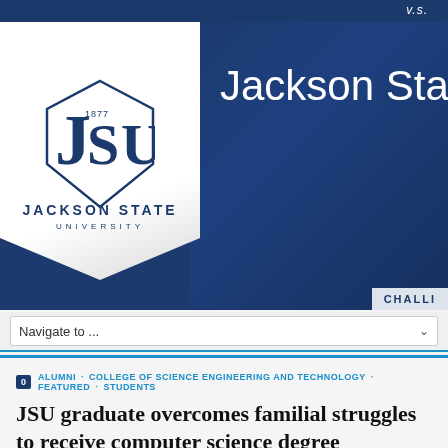[Figure (logo): Jackson State University website screenshot showing JSU logo ribbon and hero banner with 'Jackson State' text overlay]
Navigate to ...
ALUMNI · COLLEGE OF SCIENCE ENGINEERING AND TECHNOLOGY · FEATURED · STUDENTS
JSU graduate overcomes familial struggles to receive computer science degree
May 16, 2022